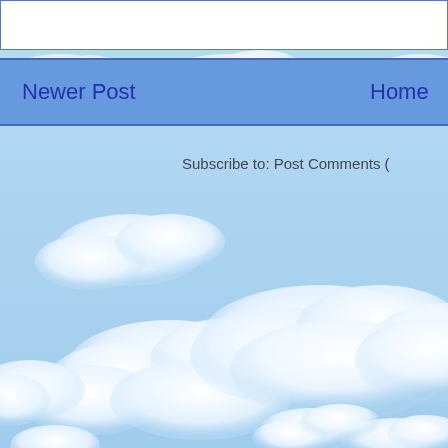[Figure (illustration): Blog page navigation area with a light blue sky and white clouds background, partially cropped. Shows a white box at top (part of a form/post area), a blue navigation bar with 'Newer Post' on the left and 'Home' on the right, and a 'Subscribe to: Post Comments (' link on the cloud background.]
Newer Post
Home
Subscribe to: Post Comments (